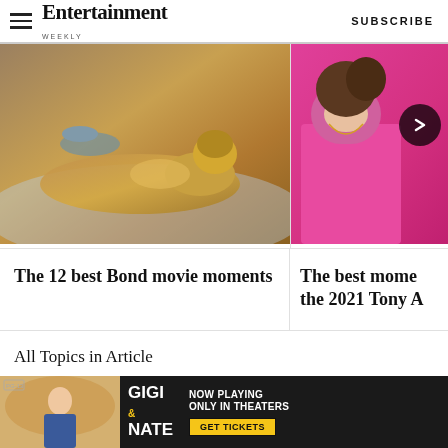Entertainment Weekly — SUBSCRIBE
[Figure (photo): Bond movie scene — golden woman lying on bed]
The 12 best Bond movie moments
[Figure (photo): Woman in pink jacket at 2021 Tony Awards, with arrow navigation circle]
The best mome the 2021 Tony A
All Topics in Article
[Figure (other): Bottom ad banner: Gigi & Nate — Now Playing Only In Theaters — Get Tickets]
SPY
NEWS
I WANT MY T